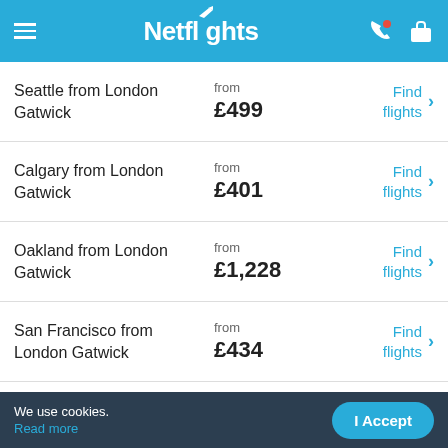Netflights
Seattle from London Gatwick — from £499 — Find flights
Calgary from London Gatwick — from £401 — Find flights
Oakland from London Gatwick — from £1,228 — Find flights
San Francisco from London Gatwick — from £434 — Find flights
Las Vegas from London — from — Find
We use cookies. Read more
I Accept